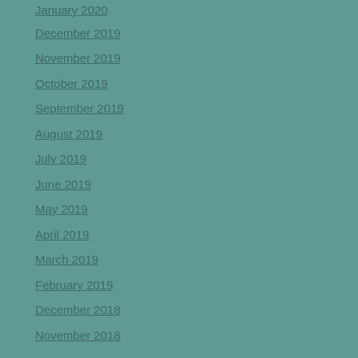January 2020
December 2019
November 2019
October 2019
September 2019
August 2019
July 2019
June 2019
May 2019
April 2019
March 2019
February 2019
December 2018
November 2018